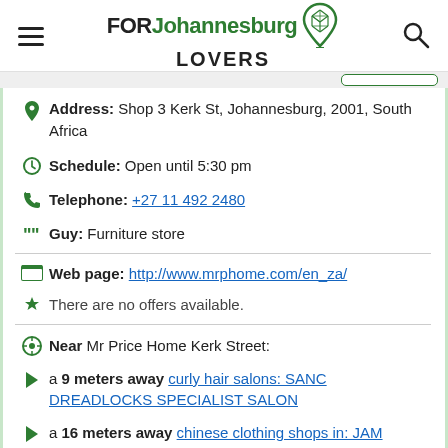FOR Johannesburg LOVERS
Address: Shop 3 Kerk St, Johannesburg, 2001, South Africa
Schedule: Open until 5:30 pm
Telephone: +27 11 492 2480
Guy: Furniture store
Web page: http://www.mrphome.com/en_za/
There are no offers available.
Near Mr Price Home Kerk Street:
a 9 meters away curly hair salons: SANC DREADLOCKS SPECIALIST SALON
a 16 meters away chinese clothing shops in: JAM Clothing - Jouney Street